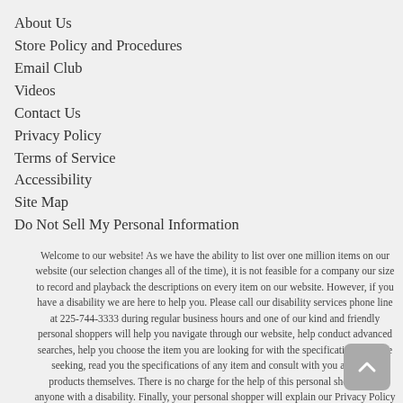About Us
Store Policy and Procedures
Email Club
Videos
Contact Us
Privacy Policy
Terms of Service
Accessibility
Site Map
Do Not Sell My Personal Information
Welcome to our website! As we have the ability to list over one million items on our website (our selection changes all of the time), it is not feasible for a company our size to record and playback the descriptions on every item on our website. However, if you have a disability we are here to help you. Please call our disability services phone line at 225-744-3333 during regular business hours and one of our kind and friendly personal shoppers will help you navigate through our website, help conduct advanced searches, help you choose the item you are looking for with the specifications you are seeking, read you the specifications of any item and consult with you about the products themselves. There is no charge for the help of this personal shopper for anyone with a disability. Finally, your personal shopper will explain our Privacy Policy and Terms of Service, and help you place an order if you